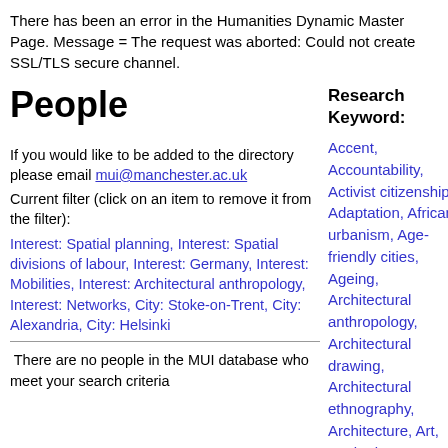There has been an error in the Humanities Dynamic Master Page. Message = The request was aborted: Could not create SSL/TLS secure channel.
People
Research Keyword:
If you would like to be added to the directory please email mui@manchester.ac.uk
Current filter (click on an item to remove it from the filter):
Interest: Spatial planning, Interest: Spatial divisions of labour, Interest: Germany, Interest: Mobilities, Interest: Architectural anthropology, Interest: Networks, City: Stoke-on-Trent, City: Alexandria, City: Helsinki
There are no people in the MUI database who meet your search criteria
Accent, Accountability, Activist citizenship, Adaptation, African urbanism, Age-friendly cities, Ageing, Architectural anthropology, Architectural drawing, Architectural ethnography, Architecture, Art, Aspiration, Atmosphere, Austerity,